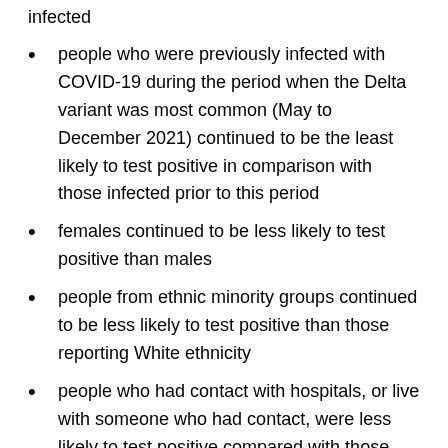infected
people who were previously infected with COVID-19 during the period when the Delta variant was most common (May to December 2021) continued to be the least likely to test positive in comparison with those infected prior to this period
females continued to be less likely to test positive than males
people from ethnic minority groups continued to be less likely to test positive than those reporting White ethnicity
people who had contact with hospitals, or live with someone who had contact, were less likely to test positive compared with those living in households